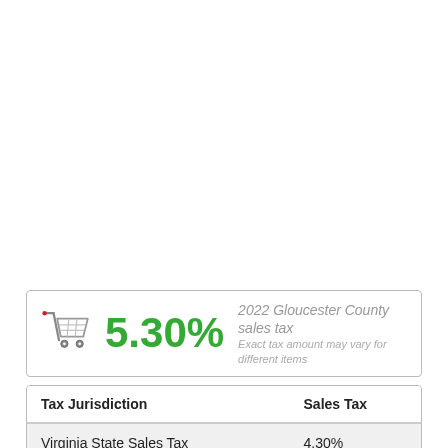[Figure (infographic): Shopping cart icon with 5.30% sales tax rate for 2022 Gloucester County, with subtitle 'Exact tax amount may vary for different items']
| Tax Jurisdiction | Sales Tax |
| --- | --- |
| Virginia State Sales Tax | 4.30% |
| Gloucester County Sales | 1.00% |